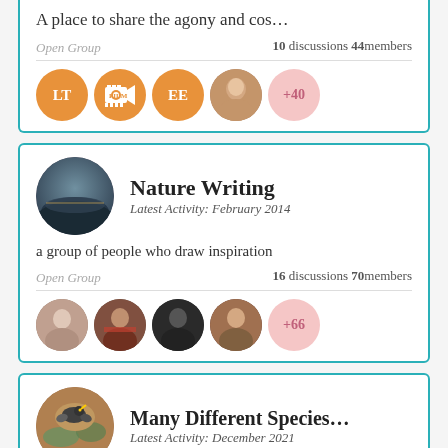A place to share the agony and cos...
Open Group    10 discussions 44members
[Figure (other): Member avatars row: LT orange circle, film camera icon orange circle, EE orange circle, photo avatar, +40 pink circle]
Nature Writing
Latest Activity: February 2014
a group of people who draw inspiration
Open Group    16 discussions 70members
[Figure (other): Member avatars row: four photo avatars plus +66 pink circle]
Many Different Species...
Latest Activity: December 2021